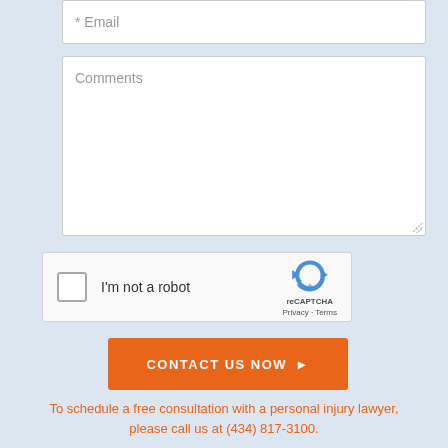[Figure (screenshot): Email input field with placeholder text '* Email']
[Figure (screenshot): Comments textarea with placeholder text 'Comments' and a resize handle in the bottom-right corner]
[Figure (screenshot): reCAPTCHA widget with checkbox labeled 'I'm not a robot' and the reCAPTCHA logo with Privacy and Terms links]
[Figure (screenshot): Orange 'CONTACT US NOW' button with a right-pointing arrow]
To schedule a free consultation with a personal injury lawyer, please call us at (434) 817-3100.